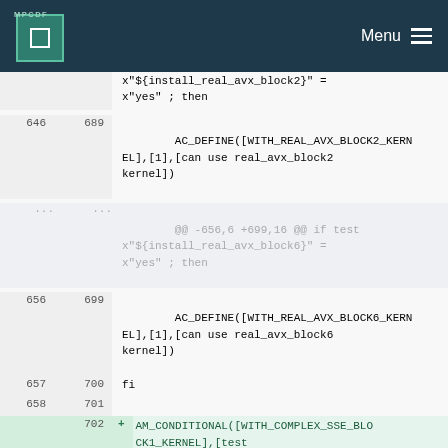MPCDF  Menu
[Figure (screenshot): Code diff view showing lines 646-703 of a configure script with additions for AC_DEFINE and AM_CONDITIONAL macros for real_avx_block2, real_avx_block6, and complex_sse_block1 kernels]
x"${install_real_avx_block2}" =
x"yes" ; then
646  689
AC_DEFINE([WITH_REAL_AVX_BLOCK2_KERNEL],[1],[can use real_avx_block2 kernel])
...  ...
@@ -656,6 +699,16 @@ if test
x"${install_real_avx_block6}" =
x"yes" ; then
656  699
AC_DEFINE([WITH_REAL_AVX_BLOCK6_KERNEL],[1],[can use real_avx_block6 kernel])
657  700  fi
658  701
702  + AM_CONDITIONAL([WITH_COMPLEX_SSE_BLOCK1_KERNEL],[test x"$install_complex_sse_block1" =
x"yes"])
703  + if test